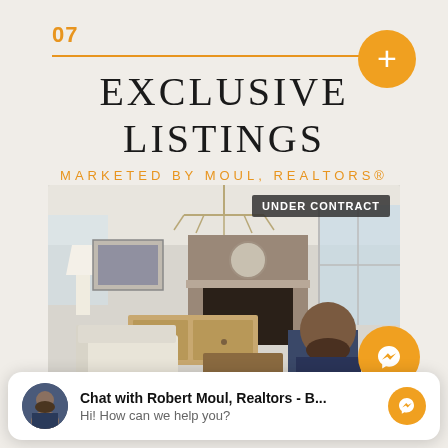07
EXCLUSIVE LISTINGS
MARKETED BY MOUL, REALTORS®
[Figure (photo): Interior photo of a modern living room with light sofa, wooden sideboard, stone fireplace, chandelier, and large windows. An 'UNDER CONTRACT' badge appears in the upper right. A man with a beard in a blue suit is partially visible in the lower right corner.]
Chat with Robert Moul, Realtors - B...
Hi! How can we help you?